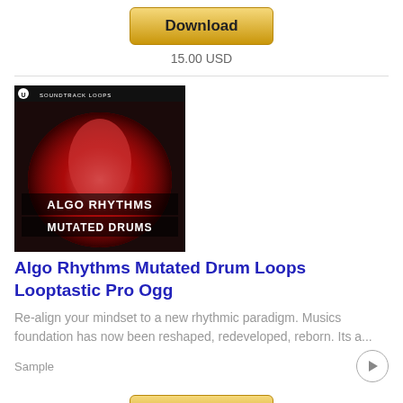[Figure (other): Download button (gold/yellow gradient) at top of page]
15.00 USD
[Figure (photo): Album art for Algo Rhythms Mutated Drums by Soundtrack Loops — dark red/pink circular drum design with text overlay]
Algo Rhythms Mutated Drum Loops Looptastic Pro Ogg
Re-align your mindset to a new rhythmic paradigm. Musics foundation has now been reshaped, redeveloped, reborn. Its a...
Sample
[Figure (other): Download button (gold/yellow gradient) at bottom of page]
15.00 USD